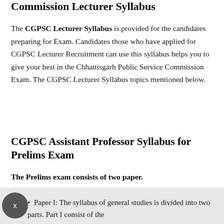Commission Lecturer Syllabus
The CGPSC Lecturer Syllabus is provided for the candidates preparing for Exam. Candidates those who have applied for CGPSC Lecturer Recruitment can use this syllabus helps you to give your best in the Chhattisgarh Public Service Commission Exam. The CGPSC Lecturer Syllabus topics mentioned below.
CGPSC Assistant Professor Syllabus for Prelims Exam
The Prelims exam consists of two paper.
Paper I: The syllabus of general studies is divided into two parts. Part I consist of the